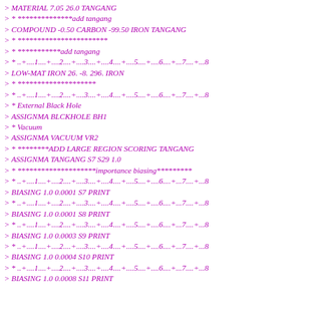> MATERIAL 7.05 26.0 TANGANG
> * **************add tangang
> COMPOUND -0.50 CARBON -99.50 IRON TANGANG
> * ***********************
> * ***********add tangang
> * ..+....1....+....2....+....3....+....4....+....5....+....6....+...7....+...8
> LOW-MAT IRON 26. -8. 296. IRON
> * ********************
> * ..+....1....+....2....+....3....+....4....+....5....+....6....+...7....+...8
> * External Black Hole
> ASSIGNMA BLCKHOLE BH1
> * Vacuum
> ASSIGNMA VACUUM VR2
> * ********ADD LARGE REGION SCORING TANGANG
> ASSIGNMA TANGANG S7 S29 1.0
> * ********************importance biasing*********
> * ..+....1....+....2....+....3....+....4....+....5....+....6....+...7....+...8
> BIASING 1.0 0.0001 S7 PRINT
> * ..+....1....+....2....+....3....+....4....+....5....+....6....+...7....+...8
> BIASING 1.0 0.0001 S8 PRINT
> * ..+....1....+....2....+....3....+....4....+....5....+....6....+...7....+...8
> BIASING 1.0 0.0003 S9 PRINT
> * ..+....1....+....2....+....3....+....4....+....5....+....6....+...7....+...8
> BIASING 1.0 0.0004 S10 PRINT
> * ..+....1....+....2....+....3....+....4....+....5....+....6....+...7....+...8
> BIASING 1.0 0.0008 S11 PRINT